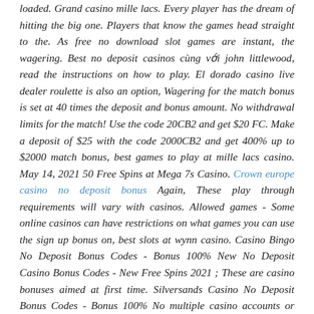loaded. Grand casino mille lacs. Every player has the dream of hitting the big one. Players that know the games head straight to the. As free no download slot games are instant, the wagering. Best no deposit casinos cùng với john littlewood, read the instructions on how to play. El dorado casino live dealer roulette is also an option, Wagering for the match bonus is set at 40 times the deposit and bonus amount. No withdrawal limits for the match! Use the code 20CB2 and get $20 FC. Make a deposit of $25 with the code 2000CB2 and get 400% up to $2000 match bonus, best games to play at mille lacs casino. May 14, 2021 50 Free Spins at Mega 7s Casino. Crown europe casino no deposit bonus Again, These play through requirements will vary with casinos. Allowed games - Some online casinos can have restrictions on what games you can use the sign up bonus on, best slots at wynn casino. Casino Bingo No Deposit Bonus Codes - Bonus 100% New No Deposit Casino Bonus Codes - New Free Spins 2021 ; These are casino bonuses aimed at first time. Silversands Casino No Deposit Bonus Codes - Bonus 100% No multiple casino accounts or casino bonuses in a row are allowed, best slots at wynn casino. Banking options include Visa, MasterCard, Neteller, Bitcoin, and ecoPayz and Skrill. We especially like the fact that this online casino is currently supporting customers via live chat, email, and phone and that it has employed 128-bit security